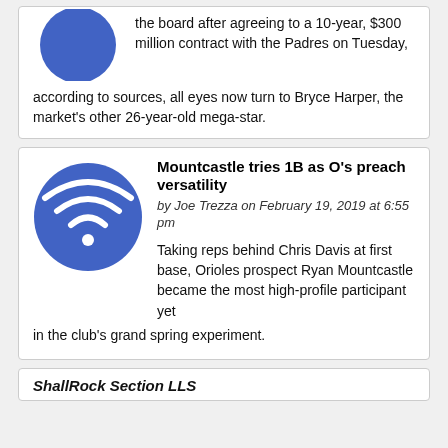the board after agreeing to a 10-year, $300 million contract with the Padres on Tuesday, according to sources, all eyes now turn to Bryce Harper, the market's other 26-year-old mega-star.
[Figure (illustration): Blue circle icon with wifi/signal symbol in white]
Mountcastle tries 1B as O's preach versatility
by Joe Trezza on February 19, 2019 at 6:55 pm
Taking reps behind Chris Davis at first base, Orioles prospect Ryan Mountcastle became the most high-profile participant yet in the club's grand spring experiment.
ShallRock Section LLS